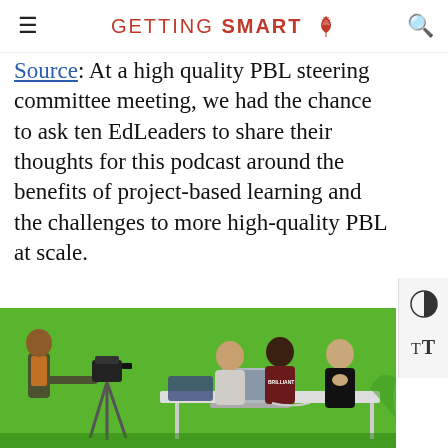GETTING SMART
Source: At a high-quality PBL steering committee meeting, we had the chance to ask ten EdLeaders to share their thoughts for this podcast around the benefits of project-based learning and the challenges to more high-quality PBL at scale.
[Figure (photo): Students in a green-screen video studio. One student operates a camera on a tripod while three students sit at a white table with a laptop, in front of a bright green background.]